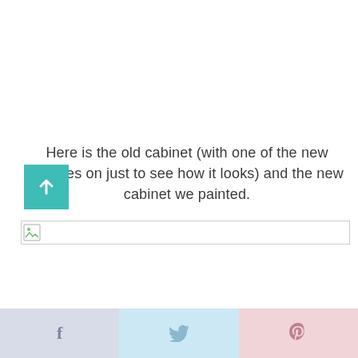Here is the old cabinet (with one of the new handles on just to see how it looks) and the new cabinet we painted.
[Figure (other): Teal/green square button with white upward arrow icon overlapping the text]
[Figure (other): Broken image placeholder with small image icon and horizontal line]
[Figure (other): Social share bar with three sections: Facebook (light blue-grey with f icon), Twitter (light blue with bird icon), Pinterest (light pink with P icon)]